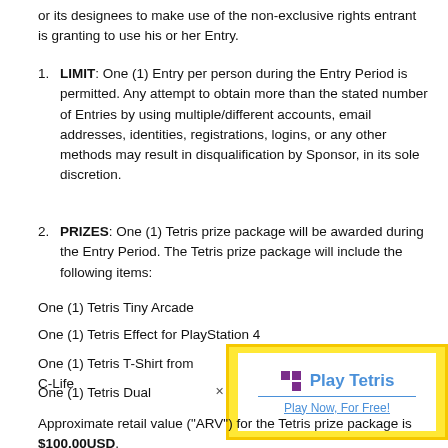or its designees to make use of the non-exclusive rights entrant is granting to use his or her Entry.
LIMIT: One (1) Entry per person during the Entry Period is permitted. Any attempt to obtain more than the stated number of Entries by using multiple/different accounts, email addresses, identities, registrations, logins, or any other methods may result in disqualification by Sponsor, in its sole discretion.
PRIZES: One (1) Tetris prize package will be awarded during the Entry Period. The Tetris prize package will include the following items:
One (1) Tetris Tiny Arcade
One (1) Tetris Effect for PlayStation 4
One (1) Tetris T-Shirt from C-Life
One (1) Tetris Dual
[Figure (other): Advertisement popup for Play Tetris - Play Now, For Free! with yellow background and Tetris logo icon]
Approximate retail value ("ARV") for the Tetris prize package is $100.00USD.